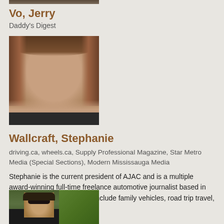[Figure (photo): Cropped top portion of a person's photo visible at very top of page]
Vo, Jerry
Daddy's Digest
[Figure (photo): Headshot of Stephanie Wallcraft, a woman with brown hair smiling]
Wallcraft, Stephanie
driving.ca, wheels.ca, Supply Professional Magazine, Star Metro Media (Special Sections), Modern Mississauga Media
Stephanie is the current president of AJAC and is a multiple award-winning full-time freelance automotive journalist based in Toronto. Areas of expertise include family vehicles, road trip travel, road safety, industry r...
[Figure (photo): Partial photo of a person wearing sunglasses sitting in a car, visible at bottom of page]